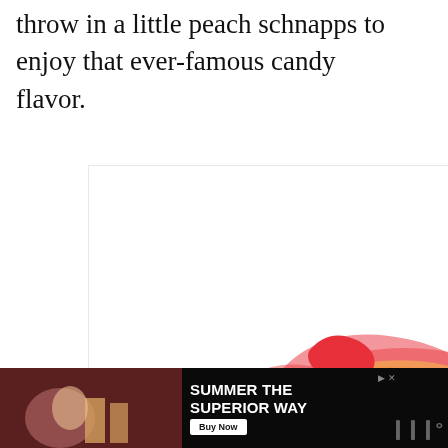throw in a little peach schnapps to enjoy that ever-famous candy flavor.
[Figure (illustration): Decorative typographic illustration with the words 'Be Kind' in large ornate red script lettering with pink and yellow layered shadow effects, on a white background. An advertisement image with a close (X) button in the top right corner.]
[Figure (infographic): Side action bar showing a heart (like) icon button, the number 217, and a teal share button with arrows icon.]
[Figure (screenshot): WHAT'S NEXT panel showing a thumbnail image of food and text: 'How to Cook Pinto Beans ...']
[Figure (photo): Bottom advertisement banner with dark background. Left side shows a photo of people at a bar/restaurant. Text reads 'SUMMER THE SUPERIOR WAY' with a 'Buy Now' button. Logo in bottom right corner.]